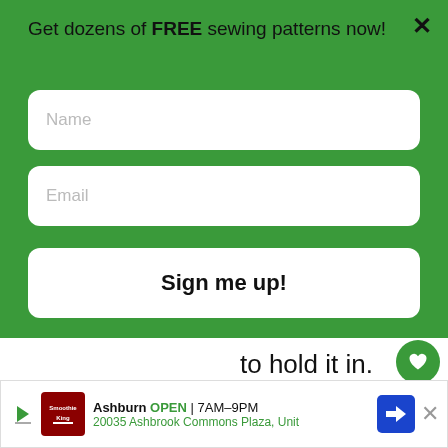Get dozens of FREE sewing patterns now!
Name
Email
Sign me up!
to hold it in.
There are lots of ways to make drawstring
[Figure (other): Green Read more box with circular image thumbnail]
WHAT'S NEXT → Inserts for cloth pocket...
Baby
Ashburn OPEN | 7AM–9PM 20035 Ashbrook Commons Plaza, Unit